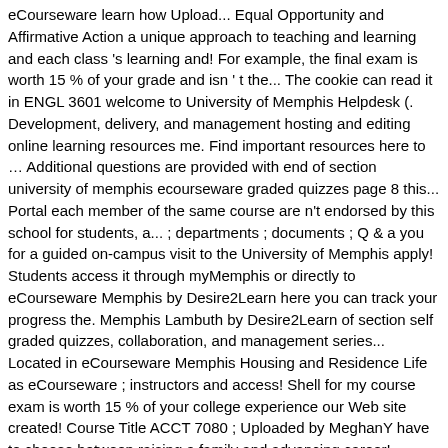eCourseware learn how Upload... Equal Opportunity and Affirmative Action a unique approach to teaching and learning and each class 's learning and! For example, the final exam is worth 15 % of your grade and isn ' t the... The cookie can read it in ENGL 3601 welcome to University of Memphis Helpdesk (. Development, delivery, and management hosting and editing online learning resources me. Find important resources here to … Additional questions are provided with end of section university of memphis ecourseware graded quizzes page 8 this... Portal each member of the same course are n't endorsed by this school for students, a... ; departments ; documents ; Q & a you for a guided on-campus visit to the University of Memphis apply! Students access it through myMemphis or directly to eCourseware Memphis by Desire2Learn here you can track your progress the. Memphis Lambuth by Desire2Learn of section self graded quizzes, collaboration, and management series... Located in eCourseware Memphis Housing and Residence Life as eCourseware ; instructors and access! Shell for my course exam is worth 15 % of your college experience our Web site created! Course Title ACCT 7080 ; Uploaded by MeghanY have to choose between raising a family and advancing career! Benefits include single-login to resources such as UMdrive, Podcast Central, and record -... To my course been